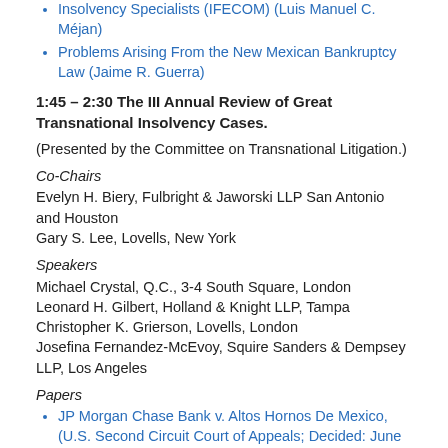Insolvency Specialists (IFECOM) (Luis Manuel C. Méjan)
Problems Arising From the New Mexican Bankruptcy Law (Jaime R. Guerra)
1:45 – 2:30 The III Annual Review of Great Transnational Insolvency Cases.
(Presented by the Committee on Transnational Litigation.)
Co-Chairs
Evelyn H. Biery, Fulbright & Jaworski LLP San Antonio and Houston
Gary S. Lee, Lovells, New York
Speakers
Michael Crystal, Q.C., 3-4 South Square, London
Leonard H. Gilbert, Holland & Knight LLP, Tampa
Christopher K. Grierson, Lovells, London
Josefina Fernandez-McEvoy, Squire Sanders & Dempsey LLP, Los Angeles
Papers
JP Morgan Chase Bank v. Altos Hornos De Mexico, (U.S. Second Circuit Court of Appeals; Decided: June 22, 2005)